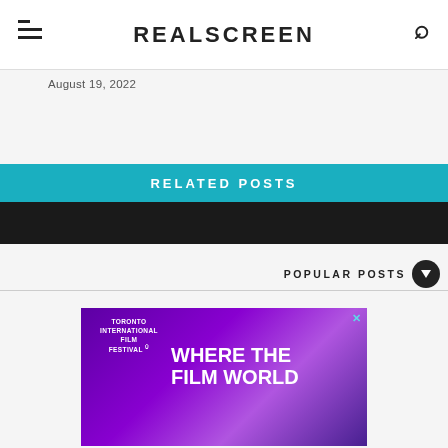REALSCREEN
August 19, 2022
RELATED POSTS
POPULAR POSTS
[Figure (photo): Toronto International Film Festival advertisement banner with purple gradient background and text 'WHERE THE FILM WORLD']